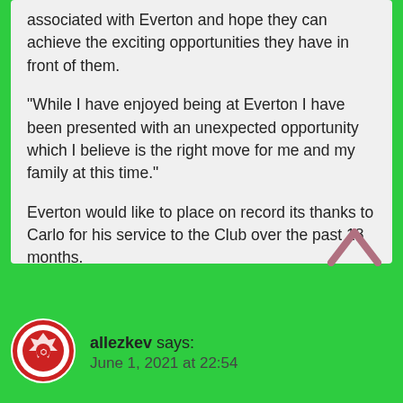associated with Everton and hope they can achieve the exciting opportunities they have in front of them.

"While I have enjoyed being at Everton I have been presented with an unexpected opportunity which I believe is the right move for me and my family at this time."

Everton would like to place on record its thanks to Carlo for his service to the Club over the past 18 months.
[Figure (illustration): Upward-pointing chevron arrow in mauve/rose color]
[Figure (logo): Circular red and white sports club badge/logo]
allezkev says: June 1, 2021 at 22:54